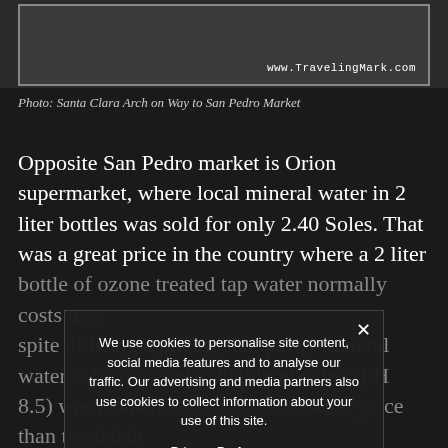[Figure (photo): Partial top of a street photo showing Santa Clara Arch on Way to San Pedro Market, with watermark www.TravelingMark.com]
Photo: Santa Clara Arch on Way to San Pedro Market
Opposite San Pedro market is Orion supermarket, where local mineral water in 2 liter bottles was sold for only 2.40 Soles. That was a great price in the country where a 2 liter bottle of ozone treated tap water normally costs us... In spite of being a pricey, sun quirky mineral water, which was also highly alkaline (PH 8.5) was available in Cuzco at a better price than treated tap water... any nutritious value in the rest of the country.
We use cookies to personalise site content, social media features and to analyse our traffic. Our advertising and media partners also use cookies to collect information about your use of this site. › Privacy Preferences I Agree